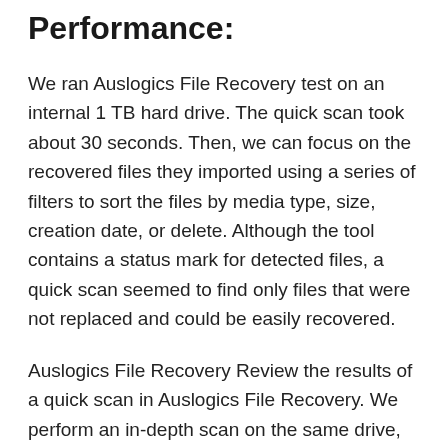Performance:
We ran Auslogics File Recovery test on an internal 1 TB hard drive. The quick scan took about 30 seconds. Then, we can focus on the recovered files they imported using a series of filters to sort the files by media type, size, creation date, or delete. Although the tool contains a status mark for detected files, a quick scan seemed to find only files that were not replaced and could be easily recovered.
Auslogics File Recovery Review the results of a quick scan in Auslogics File Recovery. We perform an in-depth scan on the same drive, which should be used when formatting the hard drive or if you are looking for